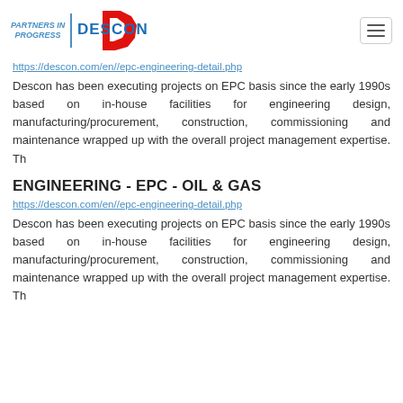[Figure (logo): Descon logo with PARTNERS IN PROGRESS text, a red stylized D shape, and DESCON text in blue, plus a hamburger menu icon on the right]
https://descon.com/en//epc-engineering-detail.php
Descon has been executing projects on EPC basis since the early 1990s based on in-house facilities for engineering design, manufacturing/procurement, construction, commissioning and maintenance wrapped up with the overall project management expertise. Th
ENGINEERING - EPC - OIL & GAS
https://descon.com/en//epc-engineering-detail.php
Descon has been executing projects on EPC basis since the early 1990s based on in-house facilities for engineering design, manufacturing/procurement, construction, commissioning and maintenance wrapped up with the overall project management expertise. Th